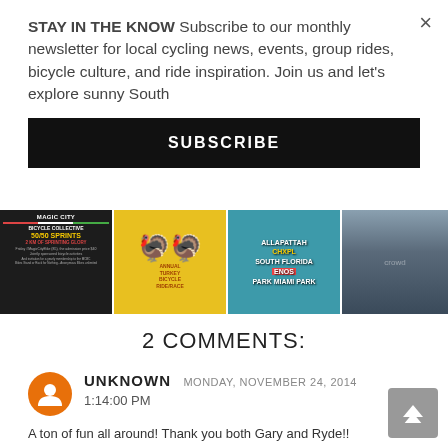STAY IN THE KNOW Subscribe to our monthly newsletter for local cycling news, events, group rides, bicycle culture, and ride inspiration. Join us and let's explore sunny South
SUBSCRIBE
[Figure (photo): Four image strip: Magic City Bicycle Collective 50/50 Sprints flyer, Turkey cycling event flyer on yellow background, colorful text overlay on blue/green background, crowd of cyclists photo]
2 COMMENTS:
UNKNOWN  MONDAY, NOVEMBER 24, 2014
1:14:00 PM
A ton of fun all around! Thank you both Gary and Ryde!!
REPLY